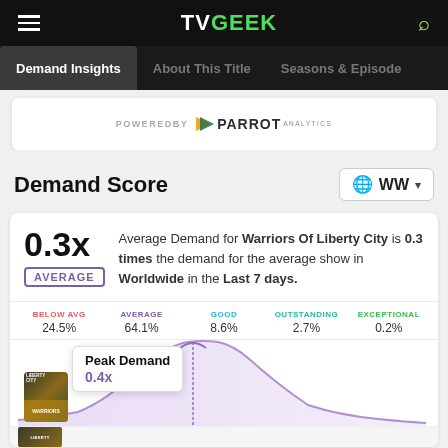TVGEEK
Demand Insights | About This Title | Seasons & Episode
[Figure (logo): Powered by Parrot Analytics logo]
Demand Score
0.3x AVERAGE — Average Demand for Warriors Of Liberty City is 0.3 times the demand for the average show in Worldwide in the Last 7 days.
| BELOW AVG | AVERAGE | GOOD | OUTSTANDING | EXCEPTIONAL |
| --- | --- | --- | --- | --- |
| 24.5% | 64.1% | 8.6% | 2.7% | 0.2% |
[Figure (continuous-plot): Bell curve chart showing demand distribution with show thumbnail and Peak Demand tooltip at 0.4x]